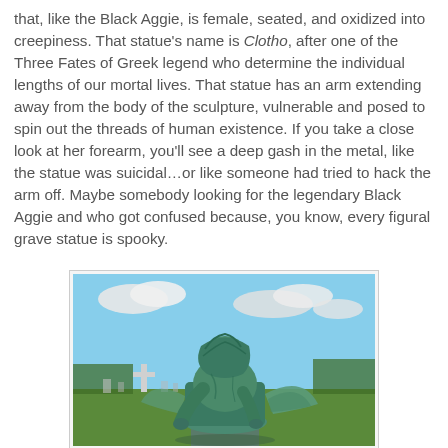that, like the Black Aggie, is female, seated, and oxidized into creepiness. That statue's name is Clotho, after one of the Three Fates of Greek legend who determine the individual lengths of our mortal lives. That statue has an arm extending away from the body of the sculpture, vulnerable and posed to spin out the threads of human existence. If you take a close look at her forearm, you'll see a deep gash in the metal, like the statue was suicidal…or like someone had tried to hack the arm off. Maybe somebody looking for the legendary Black Aggie and who got confused because, you know, every figural grave statue is spooky.
[Figure (photo): A photograph of a bronze/oxidized green cemetery angel statue, seated and hunched forward with wings visible, head bowed and covered by a draped hood or veil. The statue is teal/green from oxidation. In the background is a cemetery with a white cross monument, green grass, trees, and a partly cloudy blue sky.]